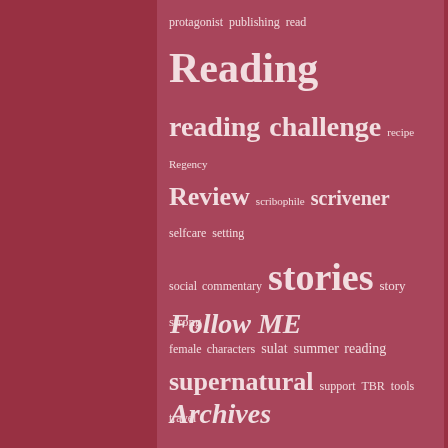[Figure (infographic): Tag cloud with book/writing related terms in varying sizes on a muted rose/mauve background. Terms include: protagonist, publishing, read, Reading, reading challenge, recipe, Regency, Review, scribophile, scrivener, selfcare, setting, social commentary, stories, story, strong, female characters, sulat, summer reading, supernatural, support, TBR, tools, travel, winter, worldbuilding, Writing, ya, young adult]
Follow ME
Archives